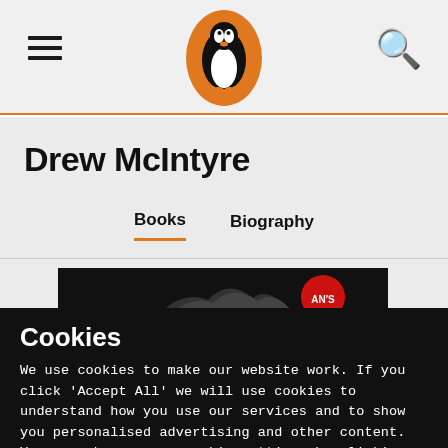Penguin Books navigation bar with hamburger menu, Penguin logo, and search icon
Drew McIntyre
Books   Biography
[Figure (screenshot): Partial book cover image on dark background showing mountain/hair imagery and red circular element]
Cookies
We use cookies to make our website work. If you click 'Accept All' we will use cookies to understand how you use our services and to show you personalised advertising and other content. You can change your cookie settings by clicking 'Manage Cookies'. For more information please see our cookie policy